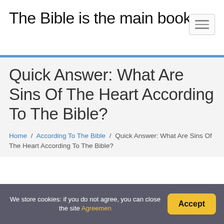The Bible is the main book
Quick Answer: What Are Sins Of The Heart According To The Bible?
Home / According To The Bible / Quick Answer: What Are Sins Of The Heart According To The Bible?
We store cookies: if you do not agree, you can close the site Agreemen